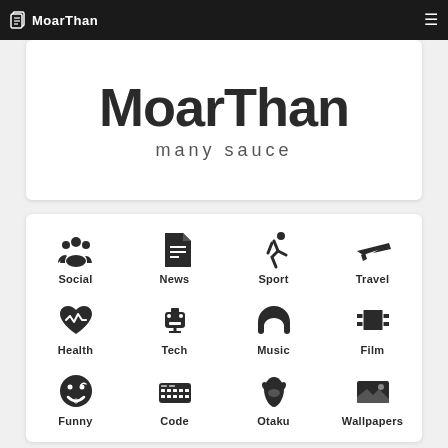MoarThan — navigation bar
MoarThan
many sauce
[Figure (infographic): Category grid with icons: Social, News, Sport, Travel, Health, Tech, Music, Film, Funny, Code, Otaku, Wallpapers]